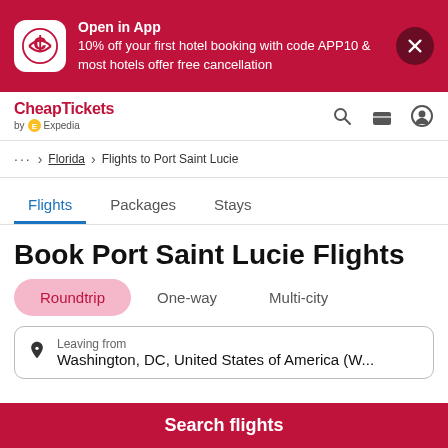[Figure (screenshot): CheapTickets app promotion banner with logo, promotional text about 10% off hotel booking with code APP10 and free cancellation, and a close button]
CheapTickets by Expedia
... > Florida > Flights to Port Saint Lucie
Flights  Packages  Stays
Book Port Saint Lucie Flights
Roundtrip  One-way  Multi-city
Leaving from
Washington, DC, United States of America (W...
Search flights